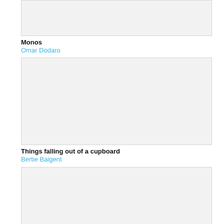[Figure (other): Thumbnail image placeholder for Monos]
Monos
Omar Dodaro
[Figure (other): Thumbnail image placeholder for Things falling out of a cupboard]
Things falling out of a cupboard
Bertie Baigent
[Figure (other): Thumbnail image placeholder for Alucina (Machines et Kaléidoscopes)]
Alucina (Machines et Kaléidoscopes)
Marco Suárez Cifuentes
[Figure (other): Thumbnail image placeholder (partial, bottom of page)]